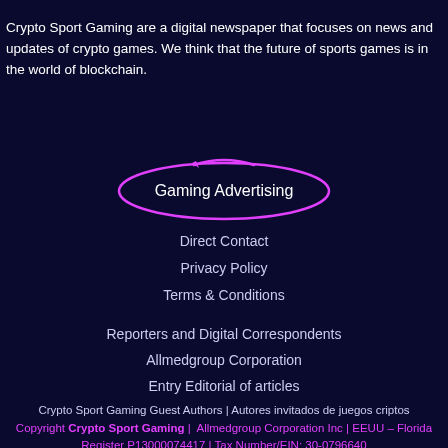Crypto Sport Gaming are a digital newspaper that focuses on news and updates of crypto games. We think that the future of sports games is in the world of blockchain.
[Figure (other): Pink oval/ellipse outline encircling the text 'Gaming Advertising']
Direct Contact
Privacy Policy
Terms & Conditions
Reporters and Digital Correspondents
Allmedgroup Corporation
Entry Editorial of articles
Crypto Sport Gaming Guest Authors | Autores invitados de juegos criptos
Copyright Crypto Sport Gaming |  Allmedgroup Corporation Inc | EEUU – Florida Register P13000074417 | Tax Number/EIN: 30-0796640